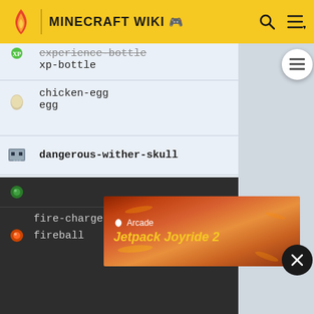MINECRAFT WIKI
experience-bottle
xp-bottle
chicken-egg
egg
dangerous-wither-skull
dragon-fireball
ender-dragon-fireball
fireball-dragon
ender-eye
[Figure (screenshot): Apple Arcade advertisement showing Jetpack Joyride 2 game]
fire-charge
fireball